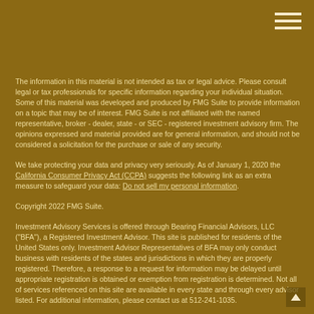[Figure (other): Hamburger menu icon (three horizontal white lines) in the top-right corner]
The information in this material is not intended as tax or legal advice. Please consult legal or tax professionals for specific information regarding your individual situation. Some of this material was developed and produced by FMG Suite to provide information on a topic that may be of interest. FMG Suite is not affiliated with the named representative, broker - dealer, state - or SEC - registered investment advisory firm. The opinions expressed and material provided are for general information, and should not be considered a solicitation for the purchase or sale of any security.
We take protecting your data and privacy very seriously. As of January 1, 2020 the California Consumer Privacy Act (CCPA) suggests the following link as an extra measure to safeguard your data: Do not sell my personal information.
Copyright 2022 FMG Suite.
Investment Advisory Services is offered through Bearing Financial Advisors, LLC ("BFA"), a Registered Investment Advisor. This site is published for residents of the United States only. Investment Advisor Representatives of BFA may only conduct business with residents of the states and jurisdictions in which they are properly registered. Therefore, a response to a request for information may be delayed until appropriate registration is obtained or exemption from registration is determined. Not all of services referenced on this site are available in every state and through every advisor listed. For additional information, please contact us at 512-241-1035.